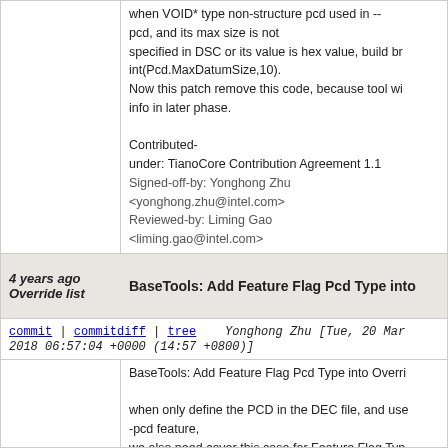when VOID* type non-structure pcd used in --pcd, and its max size is not specified in DSC or its value is hex value, build bre int(Pcd.MaxDatumSize,10). Now this patch remove this code, because tool wi info in later phase.

Contributed-
under: TianoCore Contribution Agreement 1.1
Signed-off-by: Yonghong Zhu <yonghong.zhu@intel.com>
Reviewed-by: Liming Gao <liming.gao@intel.com>
4 years ago Override list   BaseTools: Add Feature Flag Pcd Type into
commit | commitdiff | tree   Yonghong Zhu [Tue, 20 Mar 2018 06:57:04 +0000 (14:57 +0800)]
BaseTools: Add Feature Flag Pcd Type into Overri

when only define the PCD in the DEC file, and use -pcd feature,
we also need cover this case for Feature Flag Typ

Contributed-
under: TianoCore Contribution Agreement 1.1
Signed-off-by: Yonghong Zhu <yonghong.zhu@intel.com>
Reviewed-by: Liming Gao